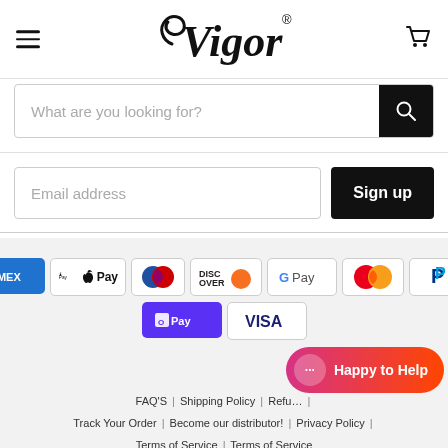[Figure (logo): eVigor logo with stylized text and registered trademark symbol]
What are you looking for?
Email address
Sign up
[Figure (infographic): Payment method logos: AMEX, Apple Pay, Diners Club, Discover, Google Pay, Mastercard, PayPal, Shop Pay, Visa]
[Figure (screenshot): Happy to Help chat bubble button]
FAQ'S | Shipping Policy | Refu... | Track Your Order | Become our distributor! | Privacy Policy | Terms of Service | Terms of Service